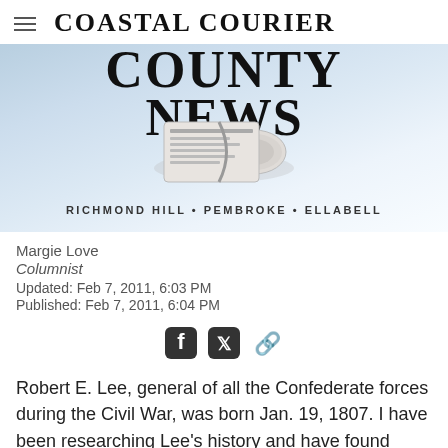Coastal Courier
[Figure (illustration): County News banner with rolled newspaper graphic. Text: COUNTY NEWS above, RICHMOND HILL • PEMBROKE • ELLABELL below.]
Margie Love
Columnist
Updated: Feb 7, 2011, 6:03 PM
Published: Feb 7, 2011, 6:04 PM
[Figure (other): Social sharing icons: Facebook, Twitter, link/chain icon]
Robert E. Lee, general of all the Confederate forces during the Civil War, was born Jan. 19, 1807. I have been researching Lee's history and have found many fascinating bits of information